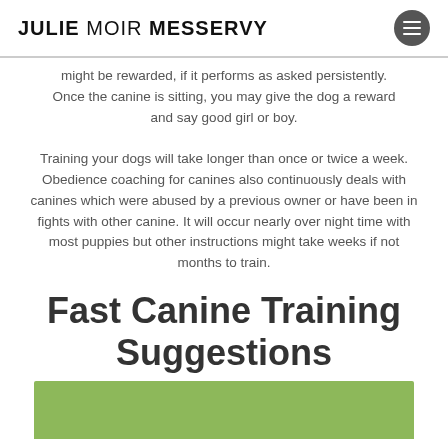JULIE MOIR MESSERVY
might be rewarded, if it performs as asked persistently. Once the canine is sitting, you may give the dog a reward and say good girl or boy.
Training your dogs will take longer than once or twice a week. Obedience coaching for canines also continuously deals with canines which were abused by a previous owner or have been in fights with other canine. It will occur nearly over night time with most puppies but other instructions might take weeks if not months to train.
Fast Canine Training Suggestions
[Figure (photo): Green grass field photo, partially visible at bottom of page]